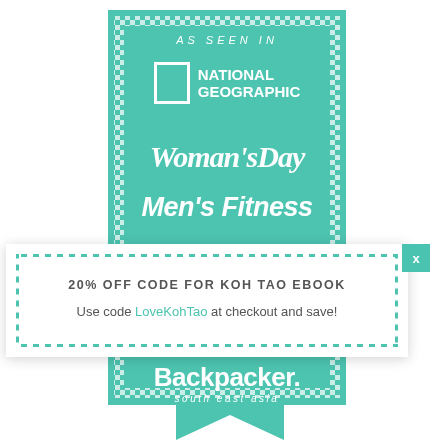[Figure (infographic): Teal/turquoise banner with checkerboard border showing 'AS SEEN IN' with logos for National Geographic, Woman's Day, Men's Fitness, and Backpacker south east asia, with a bookmark arrow at the bottom]
AS SEEN IN
NATIONAL GEOGRAPHIC
Woman's Day
Men's Fitness
Backpacker. south east asia
20% OFF CODE FOR KOH TAO EBOOK
Use code LoveKohTao at checkout and save!